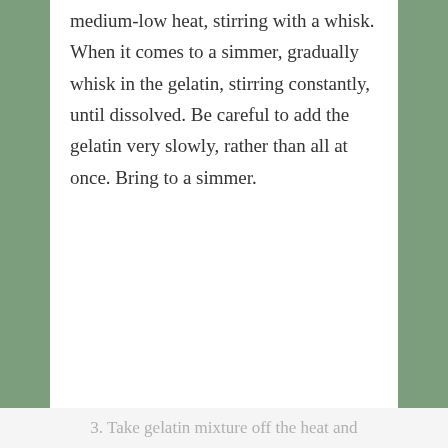medium-low heat, stirring with a whisk. When it comes to a simmer, gradually whisk in the gelatin, stirring constantly, until dissolved. Be careful to add the gelatin very slowly, rather than all at once. Bring to a simmer.
3. Take gelatin mixture off the heat and